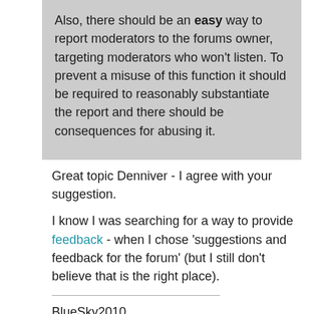Also, there should be an easy way to report moderators to the forums owner, targeting moderators who won't listen. To prevent a misuse of this function it should be required to reasonably substantiate the report and there should be consequences for abusing it.
Great topic Denniver - I agree with your suggestion.

I know I was searching for a way to provide feedback - when I chose 'suggestions and feedback for the forum' (but I still don't believe that is the right place).
BlueSky2010
Please help and appreciate others by using these features: "Propose As Answer", "Vote As Helpful" and "Mark As Answer"